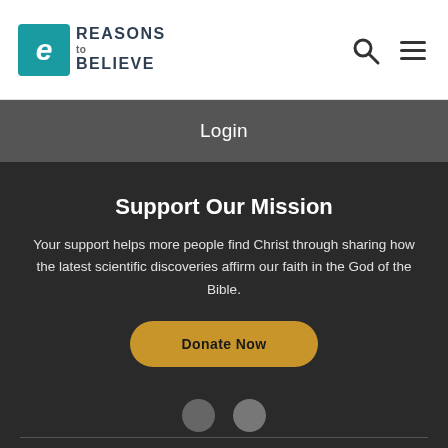[Figure (logo): Reasons to Believe logo with teal e-shaped icon and text]
Login
Support Our Mission
Your support helps more people find Christ through sharing how the latest scientific discoveries affirm our faith in the God of the Bible.
Donate Now